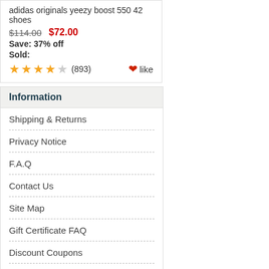adidas originals yeezy boost 550 42 shoes
$114.00  $72.00
Save: 37% off
Sold:
★★★★☆ (893)  ♥like
Information
Shipping & Returns
Privacy Notice
F.A.Q
Contact Us
Site Map
Gift Certificate FAQ
Discount Coupons
Newsletter Unsubscribe
Who's Online
There currently are 13 guests online.